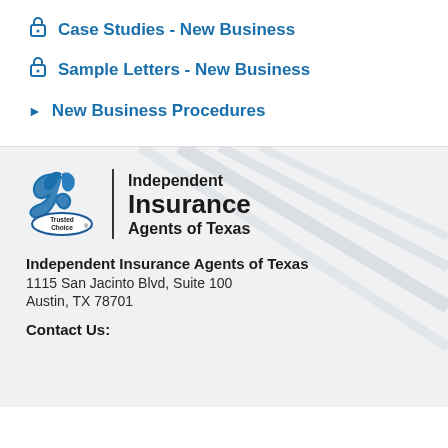Case Studies - New Business
Sample Letters - New Business
New Business Procedures
[Figure (logo): Trusted Choice and Independent Insurance Agents of Texas combined logo]
Independent Insurance Agents of Texas
1115 San Jacinto Blvd, Suite 100
Austin, TX 78701
Contact Us: